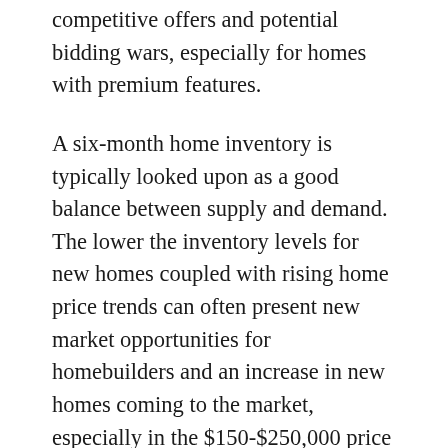competitive offers and potential bidding wars, especially for homes with premium features.
A six-month home inventory is typically looked upon as a good balance between supply and demand. The lower the inventory levels for new homes coupled with rising home price trends can often present new market opportunities for homebuilders and an increase in new homes coming to the market, especially in the $150-$250,000 price range where inventory levels are lowest.
Existing home inventory data released by the National Association of Realtors shows that housing inventory in the USA, which peaked at over 4 million during the heights of the economic boom, has steadily declined to 1.89 million as of February 2015 and is at approximately 1.6 million going into 2017. This is